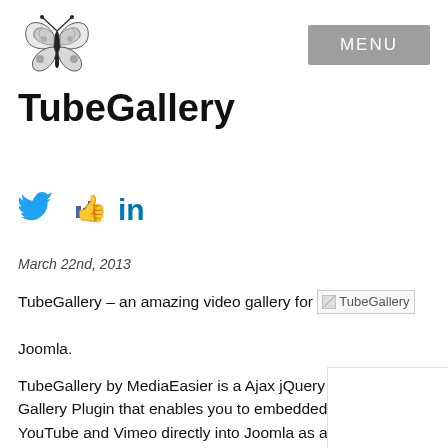[Figure (illustration): Black and white butterfly illustration in the top left header]
MENU
TubeGallery
[Figure (infographic): Social media icons: Twitter bird (blue), Facebook thumbs up (blue), LinkedIn 'in' (dark blue)]
March 22nd, 2013
TubeGallery – an amazing video gallery for Joomla.
TubeGallery by MediaEasier is a Ajax jQuery based Video Gallery Plugin that enables you to embedded videos from YouTube and Vimeo directly into Joomla as articles galleries.